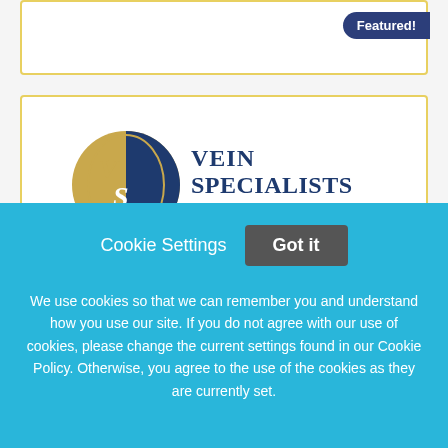[Figure (logo): Featured! badge on top card (partial)]
[Figure (logo): Vein Specialists of the Carolinas logo — circular emblem with stylized VS letters in gold/navy, followed by text 'VEIN SPECIALISTS of the CAROLINAS' in navy]
Sonographer
Vein Specialists of the Carolinas
Cookie Settings
Got it
We use cookies so that we can remember you and understand how you use our site. If you do not agree with our use of cookies, please change the current settings found in our Cookie Policy. Otherwise, you agree to the use of the cookies as they are currently set.